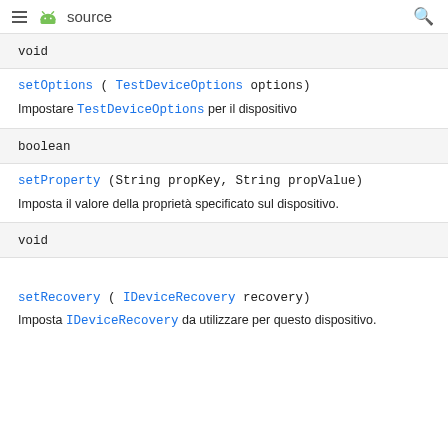≡ 🤖 source  🔍
void
setOptions ( TestDeviceOptions options)
Impostare TestDeviceOptions per il dispositivo
boolean
setProperty (String propKey, String propValue)
Imposta il valore della proprietà specificato sul dispositivo.
void
setRecovery ( IDeviceRecovery recovery)
Imposta IDeviceRecovery da utilizzare per questo dispositivo.